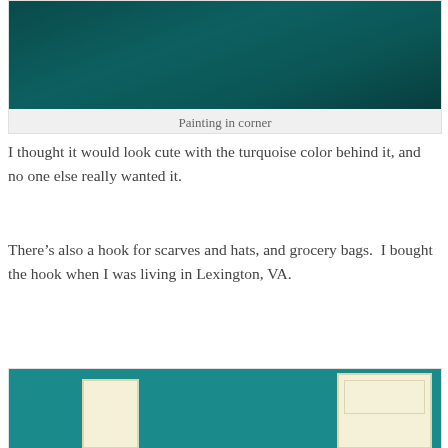[Figure (photo): Close-up photo of a dark teal/turquoise painted wall corner, showing the deep green-teal color of the paint.]
Painting in corner
I thought it would look cute with the turquoise color behind it, and no one else really wanted it.
There’s also a hook for scarves and hats, and grocery bags.  I bought the hook when I was living in Lexington, VA.
[Figure (photo): Photo of a room with teal/turquoise painted walls, showing white door frames and doors in the corners of the room.]